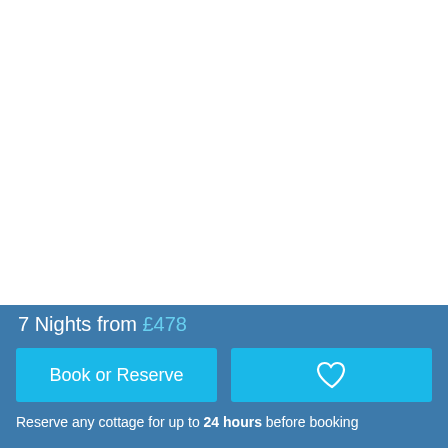[Figure (photo): White empty area representing a photo of coastline (image not shown)]
This stretch of coastline is stunning.
7 Nights from £478
Book or Reserve
♡
Reserve any cottage for up to 24 hours before booking